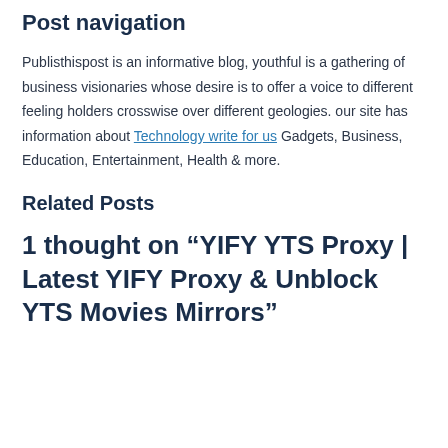Post navigation
Publisthispost is an informative blog, youthful is a gathering of business visionaries whose desire is to offer a voice to different feeling holders crosswise over different geologies. our site has information about Technology write for us Gadgets, Business, Education, Entertainment, Health & more.
Related Posts
1 thought on “YIFY YTS Proxy | Latest YIFY Proxy & Unblock YTS Movies Mirrors”